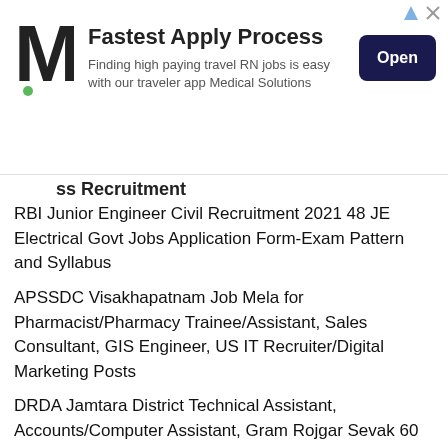[Figure (other): Advertisement banner with M logo, 'Fastest Apply Process' headline, subtitle about travel RN jobs, and Open button]
ss Recruitment
RBI Junior Engineer Civil Recruitment 2021 48 JE Electrical Govt Jobs Application Form-Exam Pattern and Syllabus
APSSDC Visakhapatnam Job Mela for Pharmacist/Pharmacy Trainee/Assistant, Sales Consultant, GIS Engineer, US IT Recruiter/Digital Marketing Posts
DRDA Jamtara District Technical Assistant, Accounts/Computer Assistant, Gram Rojgar Sevak 60 Govt Jobs Online Recruitment 2021
BSNL HP Graduate/Diploma Apprentice Jobs Recruitment Online Registration Form-Apprenticeship
IRCON International LTD Works Engineer (Civil, S&T)